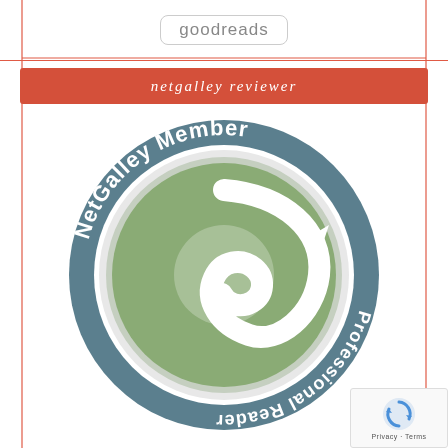[Figure (logo): Goodreads logo in a rounded rectangle box at the top of the page]
[Figure (illustration): Red banner with italic text 'netgalley reviewer']
[Figure (logo): NetGalley Member Professional Reader circular badge with teal/slate outer ring, white text reading 'NetGalley Member' at top and 'Professional Reader' at bottom (upside down), and a green swirl logo in the center]
[Figure (illustration): reCAPTCHA widget overlay in bottom right corner with Privacy and Terms text]